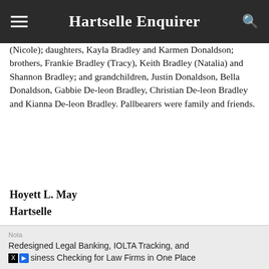Hartselle Enquirer
(Nicole); daughters, Kayla Bradley and Karmen Donaldson; brothers, Frankie Bradley (Tracy), Keith Bradley (Natalia) and Shannon Bradley; and grandchildren, Justin Donaldson, Bella Donaldson, Gabbie De-leon Bradley, Christian De-leon Bradley and Kianna De-leon Bradley. Pallbearers were family and friends.
Hoyett L. May
Hartselle
[Figure (photo): Partial portrait photo of a person with white/grey hair against a blue-grey background, with another dark-haired person partially visible.]
Nota
Redesigned Legal Banking, IOLTA Tracking, and siness Checking for Law Firms in One Place